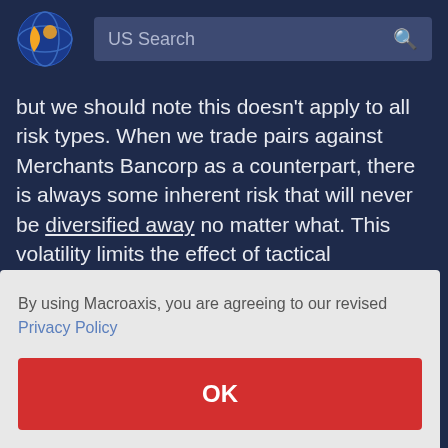[Figure (logo): Macroaxis globe logo — orange and blue circular icon]
US Search
but we should note this doesn't apply to all risk types. When we trade pairs against Merchants Bancorp as a counterpart, there is always some inherent risk that will never be diversified away no matter what. This volatility limits the effect of tactical diversification using pair trading. Merchants Bancorp's systematic risk is the
By using Macroaxis, you are agreeing to our revised Privacy Policy
OK